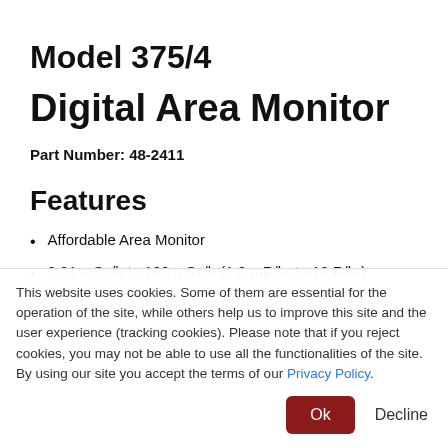Model 375/4
Digital Area Monitor
Part Number: 48-2411
Features
Affordable Area Monitor
0.01 mSv/h to 100 mSv/h (1.0 mR/hr to 10 R/hr)
This website uses cookies. Some of them are essential for the operation of the site, while others help us to improve this site and the user experience (tracking cookies). Please note that if you reject cookies, you may not be able to use all the functionalities of the site. By using our site you accept the terms of our Privacy Policy.